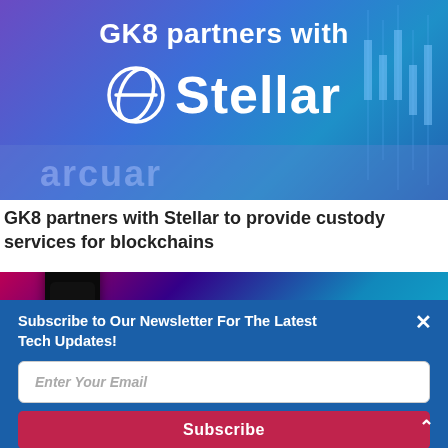[Figure (illustration): Promotional banner image showing 'GK8 partners with' text and the Stellar cryptocurrency logo (circle with strike-through S) on a blue/purple gradient background with candlestick chart lines on the right side]
GK8 partners with Stellar to provide custody services for blockchains
[Figure (photo): Partial image showing a dark smartphone with pink and purple/teal lighting in the background]
Subscribe to Our Newsletter For The Latest Tech Updates!
Enter Your Email
Subscribe